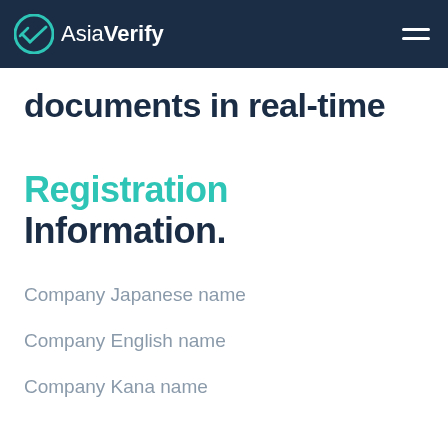AsiaVerify
documents in real-time
Registration Information.
Company Japanese name
Company English name
Company Kana name